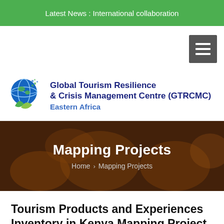Latest News : International collaboration
[Figure (logo): Global Tourism Resilience & Crisis Management Centre (GTRCMC) Eastern Africa logo with globe and leaf icon]
[Figure (photo): Hero banner with crowd photo background showing people with raised hands, overlaid with text 'Mapping Projects' and breadcrumb navigation 'Home > Mapping Projects']
Tourism Products and Experiences Inventory in Kenya Mapping Project